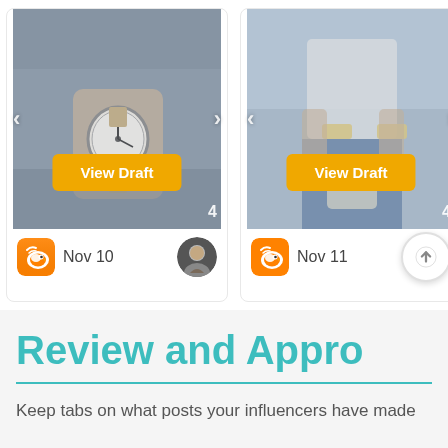[Figure (screenshot): Two social media post cards side by side. Left card shows a watch photo with 'View Draft' orange button, Weibo icon, 'Nov 10' date, and user avatar. Right card shows a fashion photo with 'View Draft' orange button, Weibo icon, 'Nov 11' date, and an upload/share button. Both cards have navigation arrows and a count of 4.]
Review and Appro
Keep tabs on what posts your influencers have made